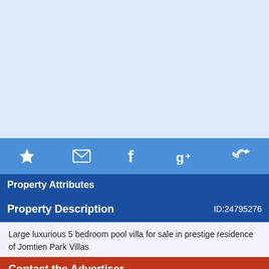[Figure (other): Light blue placeholder image area for property photo]
[Figure (infographic): Social sharing bar with icons: star (favorite), envelope (email), Facebook (f), Google+ (g+), Twitter (bird)]
Property Attributes
Property Description                             ID:24795276
Large luxurious 5 bedroom pool villa for sale in prestige residence of Jomtien Park Villas
Contact the Advertiser